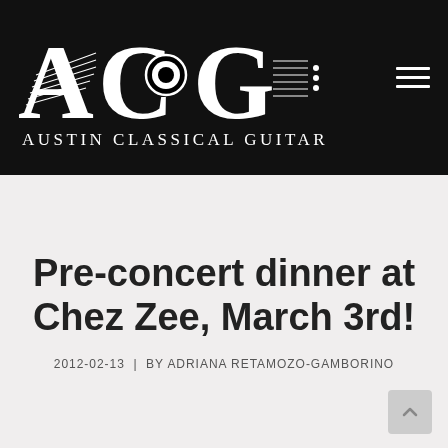[Figure (logo): Austin Classical Guitar (ACG) logo — large stylized letters A, C, G with guitar strings running through them, and the full text 'AUSTIN CLASSICAL GUITAR' below, all in white on a black background]
Pre-concert dinner at Chez Zee, March 3rd!
2012-02-13  |  BY ADRIANA RETAMOZO-GAMBORINO